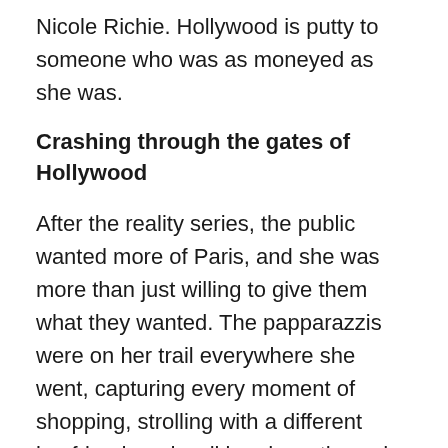Nicole Richie. Hollywood is putty to someone who was as moneyed as she was.
Crashing through the gates of Hollywood
After the reality series, the public wanted more of Paris, and she was more than just willing to give them what they wanted. The papparazzis were on her trail everywhere she went, capturing every moment of shopping, strolling with a different boyfriend, and walking down the red carpet every other night. Movies were not far behind and she appeared in a few. Though her acting talent wasn't something to be